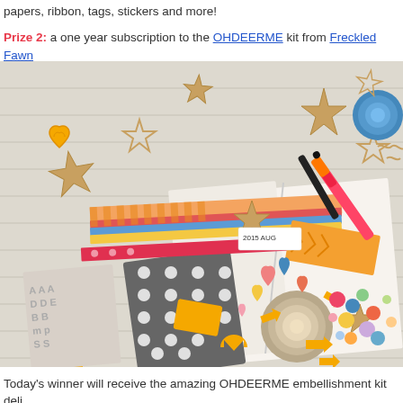papers, ribbon, tags, stickers and more!
Prize 2: a one year subscription to the OHDEERME kit from Freckled Fawn
[Figure (photo): Flat lay photo of scrapbooking and craft supplies including patterned papers, stickers, stars, hearts, markers, washi tape, buttons, and a journal/planner on a light wood surface.]
Today's winner will receive the amazing OHDEERME embellishment kit deli